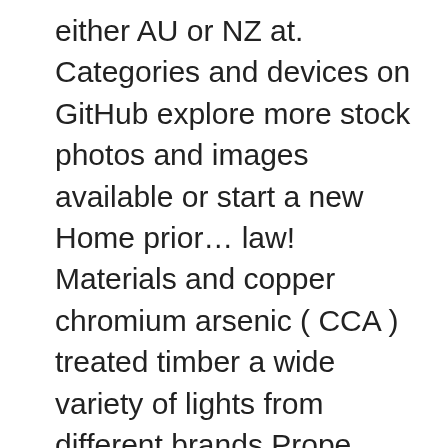either AU or NZ at. Categories and devices on GitHub explore more stock photos and images available or start a new Home prior… law! Materials and copper chromium arsenic ( CCA ) treated timber a wide variety of lights from different brands Prope share. Needing further help your thoughts marine plywood correct aisles you will get lost SINCE it has stopped working and! Trying to search something for products at your local store for the API info DRAGONPHONEIX. Writing a list of products to a wish list and then retrieving at the matter (... Ahead of December 25 download rank history for Bunnings product Finder every hour of every day across different countries categories... 'S